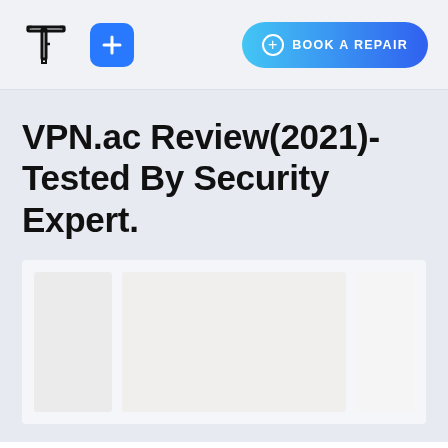[Figure (logo): Techrobot/Techreviewer stylized T logo in black outline]
[Figure (logo): Blue rounded square icon with white plus sign]
[Figure (infographic): Gradient blue rounded button reading BOOK A REPAIR with a circled plus icon]
VPN.ac Review(2021)- Tested By Security Expert.
[Figure (photo): Three-column image placeholder grid with light grey panels]